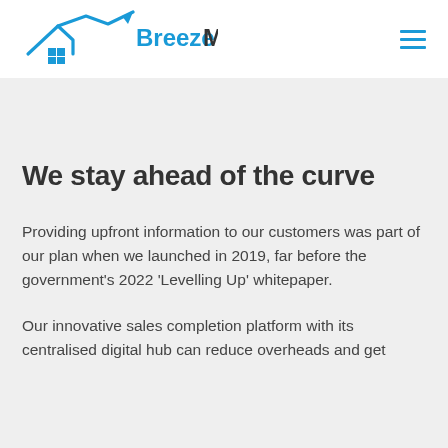[Figure (logo): BreezeMove logo with house roof outline, blue upward trending arrow, and blue grid square icon, followed by the wordmark 'BreezeMove' in dark and blue text]
We stay ahead of the curve
Providing upfront information to our customers was part of our plan when we launched in 2019, far before the government's 2022 'Levelling Up' whitepaper.
Our innovative sales completion platform with its centralised digital hub can reduce overheads and get